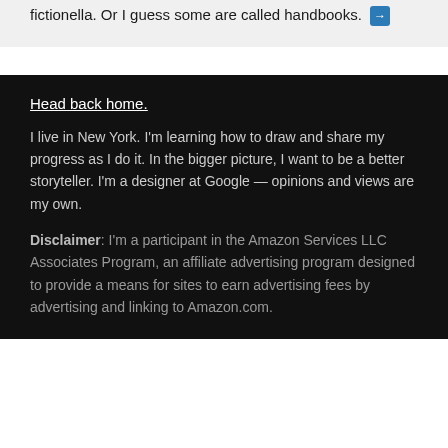fictionella. Or I guess some are called handbooks. [link icon]
Head back home.
I live in New York. I'm learning how to draw and share my progress as I do it. In the bigger picture, I want to be a better storyteller. I'm a designer at Google — opinions and views are my own.
Disclaimer: I'm a participant in the Amazon Services LLC Associates Program, an affiliate advertising program designed to provide a means for sites to earn advertising fees by advertising and linking to Amazon.com.